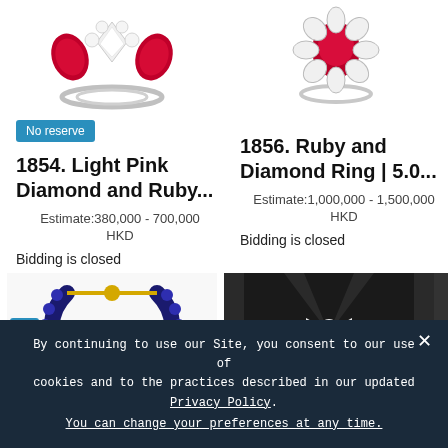[Figure (photo): Two jewelry rings at top: left shows a light pink diamond and ruby ring with pear-shaped stones, right shows a ruby and diamond ring with floral halo setting]
No reserve
1854. Light Pink Diamond and Ruby...
Estimate:380,000 - 700,000 HKD
Bidding is closed
1856. Ruby and Diamond Ring | 5.0...
Estimate:1,000,000 - 1,500,000 HKD
Bidding is closed
[Figure (photo): Bottom row: left shows a blue sapphire bracelet with gold accents; right shows a person wearing a black outfit with a diamond bow brooch]
No reserve (partial, cut off at bottom)
By continuing to use our Site, you consent to our use of cookies and to the practices described in our updated Privacy Policy. You can change your preferences at any time.